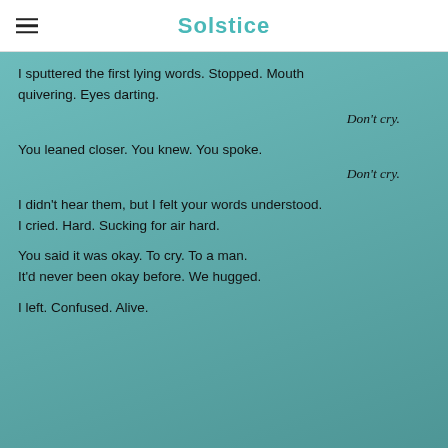Solstice
I sputtered the first lying words. Stopped. Mouth quivering. Eyes darting.

Don't cry.

You leaned closer. You knew. You spoke.

Don't cry.

I didn't hear them, but I felt your words understood. I cried. Hard. Sucking for air hard.

You said it was okay. To cry. To a man. It'd never been okay before. We hugged.

I left. Confused. Alive.